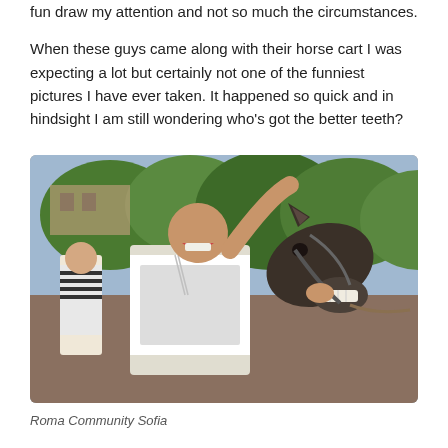fun draw my attention and not so much the circumstances.

When these guys came along with their horse cart I was expecting a lot but certainly not one of the funniest pictures I have ever taken. It happened so quick and in hindsight I am still wondering who's got the better teeth?
[Figure (photo): A man laughing loudly cheek-to-cheek with a horse that also appears to be baring its teeth and 'laughing'. The man is wearing a graphic t-shirt and chains, holding up the horse's lip. A woman in a striped top stands behind them. Green trees and a building are visible in the background.]
Roma Community Sofia